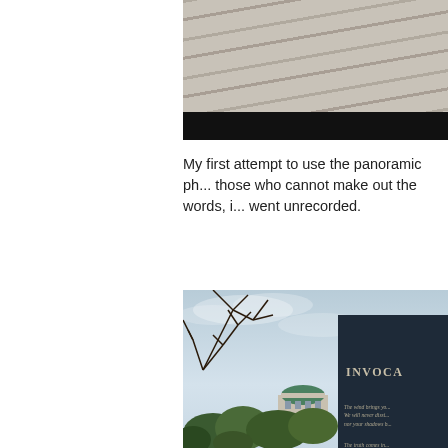[Figure (photo): Partial view of a wooden deck or boardwalk with horizontal planks, with a black bar across the bottom of the image. The image is cropped on the left side.]
My first attempt to use the panoramic ph... those who cannot make out the words, i... went unrecorded.
[Figure (photo): Outdoor scene with bare tree branches against a cloudy sky. A dark stone or granite monument/plaque is visible on the right side with the text 'INVOCA' (partially visible) and verse text including 'The wind brings yo...', 'We will never dissi...', 'nor your shadows b...', 'The truth comes in...'. A domed building is visible in the middle background surrounded by trees.]